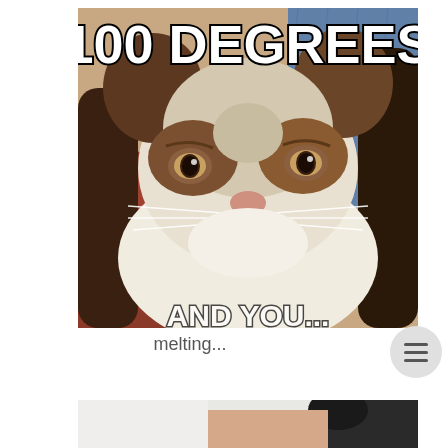[Figure (photo): Grumpy Cat meme photo with white bold text at top reading '100 DEGREES'. The cat has a distinctively grumpy frown expression, brown and white fur, sitting against a blue denim background.]
melting...
[Figure (photo): Partially visible second photo at the bottom of the page showing what appears to be a person with dark hair against a light background.]